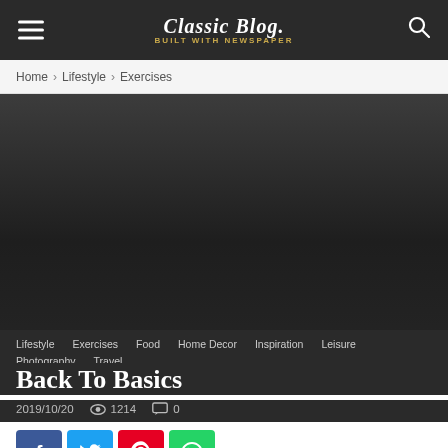Classic Blog
Home › Lifestyle › Exercises
[Figure (photo): Dark gradient hero image background for blog post]
Lifestyle
Exercises
Food
Home Decor
Inspiration
Leisure
Photography
Travel
Back To Basics
2019/10/20  👁 1214  💬 0
[Figure (infographic): Social share buttons: Facebook, Twitter, Pinterest, WhatsApp]